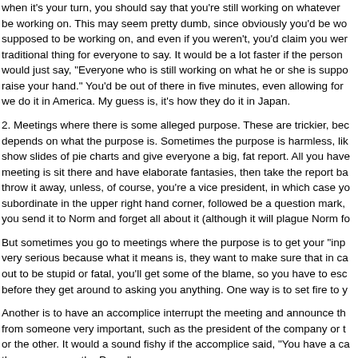when it's your turn, you should say that you're still working on whatever you're supposed to be working on. This may seem pretty dumb, since obviously you'd be working on what you're supposed to be working on, and even if you weren't, you'd claim you were. But it's the traditional thing for everyone to say. It would be a lot faster if the person running the meeting would just say, "Everyone who is still working on what he or she is supposed to be working on, raise your hand." You'd be out of there in five minutes, even allowing for hands. But that's not how we do it in America. My guess is, it's how they do it in Japan.
2. Meetings where there is some alleged purpose. These are trickier, because it all depends on what the purpose is. Sometimes the purpose is harmless, like the quarterly show slides of pie charts and give everyone a big, fat report. All you have to do at this kind of meeting is sit there and have elaborate fantasies, then take the report back to your office and throw it away, unless, of course, you're a vice president, in which case you write the name of a subordinate in the upper right hand corner, followed be a question mark, then the next morning you send it to Norm and forget all about it (although it will plague Norm fo
But sometimes you go to meetings where the purpose is to get your "input." This is very serious because what it means is, they want to make sure that in case the decision turns out to be stupid or fatal, you'll get some of the blame, so you have to escape from the meeting before they get around to asking you anything. One way is to set fire to y
Another is to have an accomplice interrupt the meeting and announce that you have a call from someone very important, such as the president of the company or the Pope, but not one or the other. It would a sound fishy if the accomplice said, "You have a call from the president of the company, or the Pope."
You should know how to take notes at a meeting. Use a yellow legal pad and write a date and underline it twice. Now wait until an important person, such as your b he does, look at him with an expression of rapt ured interest, as thou